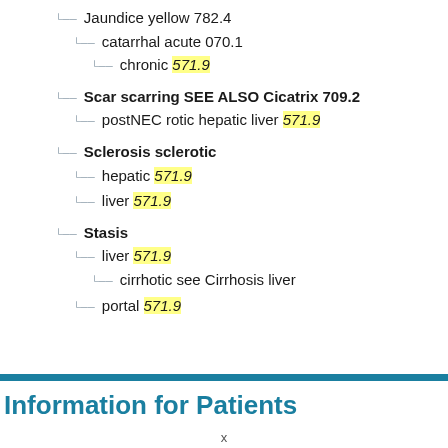Jaundice yellow 782.4
catarrhal acute 070.1
chronic 571.9
Scar scarring SEE ALSO Cicatrix 709.2
postNEC rotic hepatic liver 571.9
Sclerosis sclerotic
hepatic 571.9
liver 571.9
Stasis
liver 571.9
cirrhotic see Cirrhosis liver
portal 571.9
Information for Patients